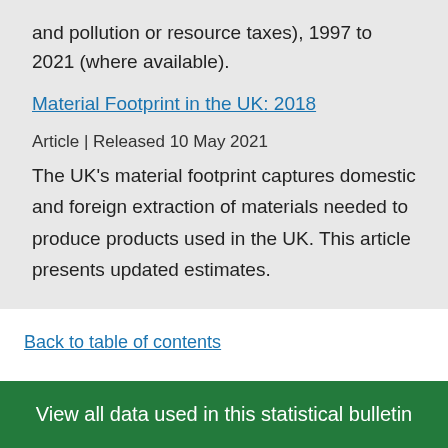and pollution or resource taxes), 1997 to 2021 (where available).
Material Footprint in the UK: 2018
Article | Released 10 May 2021
The UK's material footprint captures domestic and foreign extraction of materials needed to produce products used in the UK. This article presents updated estimates.
Back to table of contents
View all data used in this statistical bulletin